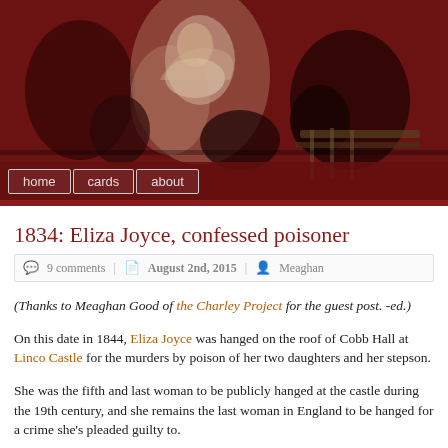[Figure (illustration): Dark dramatic painting banner showing figures with raised arms against a red/dark background, likely a Goya painting. Navigation bar below with home, cards, about buttons.]
1834: Eliza Joyce, confessed poisoner
9 comments | August 2nd, 2015 | Meaghan
(Thanks to Meaghan Good of the Charley Project for the guest post. -ed.)
On this date in 1844, Eliza Joyce was hanged on the roof of Cobb Hall at Lincoln Castle for the murders by poison of her two daughters and her stepson.
She was the fifth and last woman to be publicly hanged at the castle during the 19th century, and she remains the last woman in England to be hanged for a crime she's pleaded guilty to.
Eliza had married William Joyce, a gardener, in 1840. He had two children by his prior marriage, Emma and William Jr., and he and Eliza went on to have a daughter together, Ann.